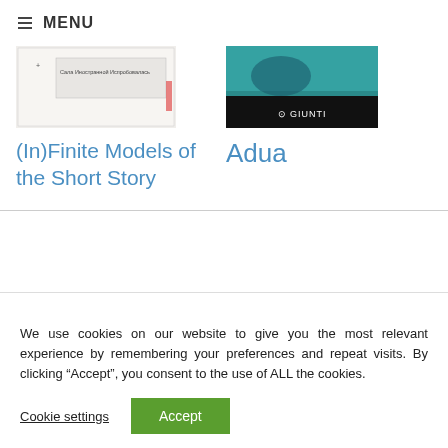≡ MENU
[Figure (illustration): Book cover for '(In)Finite Models of the Short Story' — white background with text and a small cross symbol]
(In)Finite Models of the Short Story
[Figure (illustration): Book cover for 'Adua' — dark teal and black cover with 'GIUNTI' publisher logo]
Adua
We use cookies on our website to give you the most relevant experience by remembering your preferences and repeat visits. By clicking “Accept”, you consent to the use of ALL the cookies.
Cookie settings
Accept